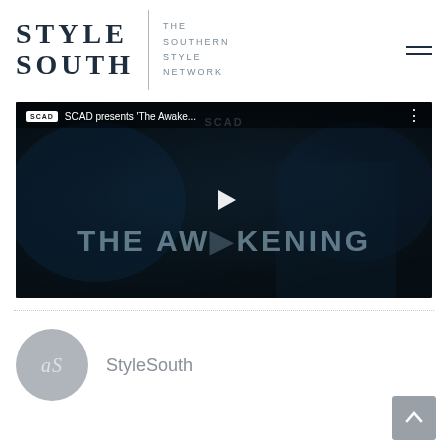[Figure (logo): Style South logo — large serif text STYLE SOUTH with vertical divider and tagline THE SOUTHERN STYLE NETWORK, plus hamburger menu icon]
[Figure (screenshot): YouTube video embed thumbnail — SCAD presents 'The Awakening' video with play button overlay and large text THE AWAKENING on dark cinematic background]
[Figure (logo): StyleSouth author avatar — circular grey badge with stylized 'aS' initials]
StyleSouth